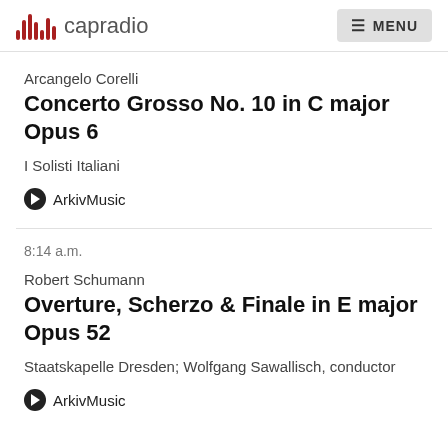capradio  MENU
Arcangelo Corelli
Concerto Grosso No. 10 in C major Opus 6
I Solisti Italiani
ArkivMusic
8:14 a.m.
Robert Schumann
Overture, Scherzo & Finale in E major Opus 52
Staatskapelle Dresden; Wolfgang Sawallisch, conductor
ArkivMusic